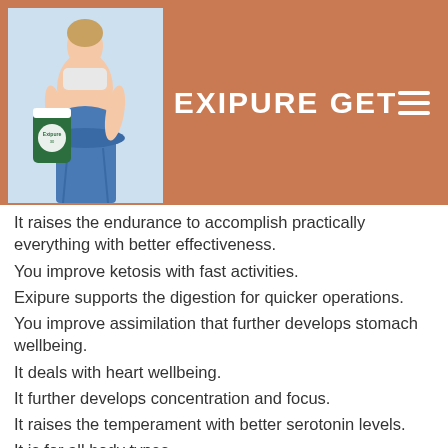[Figure (screenshot): Website header with orange/terracotta background showing Exipure product bottle and woman in jeans, with title EXIPURE GET and hamburger menu icon]
It raises the endurance to accomplish practically everything with better effectiveness.
You improve ketosis with fast activities.
Exipure supports the digestion for quicker operations.
You improve assimilation that further develops stomach wellbeing.
It deals with heart wellbeing.
It further develops concentration and focus.
It raises the temperament with better serotonin levels.
It is for all body types.
It attempts to support focus and mental clearness.
It keeps up with the glucose and strain of the blood.
You oversee diabetes.